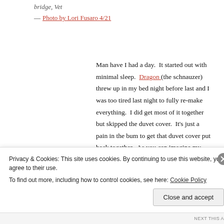bridge, Vet
— Photo by Lori Fusaro 4/21
Man have I had a day.  It started out with minimal sleep.  Dragon (the schnauzer) threw up in my bed night before last and I was too tired last night to fully re-make everything.  I did get most of it together but skipped the duvet cover.  It's just a pain in the bum to get that duvet cover put back together.  As you can imagine my bed is often a battle ground where you take whatever covers you can get.  I didn't think one little duvet would make much difference but it did.  Somehow Dragon and Bongo (Vizsla) managed to plop themselves down in such a way that it was nearly
Privacy & Cookies: This site uses cookies. By continuing to use this website, you agree to their use.
To find out more, including how to control cookies, see here: Cookie Policy
Close and accept